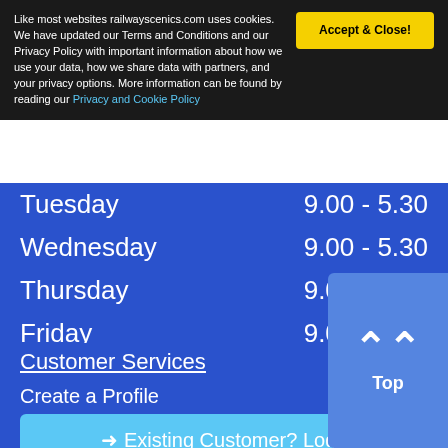Like most websites railwayscenics.com uses cookies. We have updated our Terms and Conditions and our Privacy Policy with important information about how we use your data, how we share data with partners, and your privacy options. More information can be found by reading our Privacy and Cookie Policy
| Day | Hours |
| --- | --- |
| Tuesday | 9.00 - 5.30 |
| Wednesday | 9.00 - 5.30 |
| Thursday | 9.00 - 5.30 |
| Friday | 9.00 - 5.30 |
| Saturday | 9.00 - 12.30 |
Customer Services
Create a Profile
➔ Existing Customer? Log In